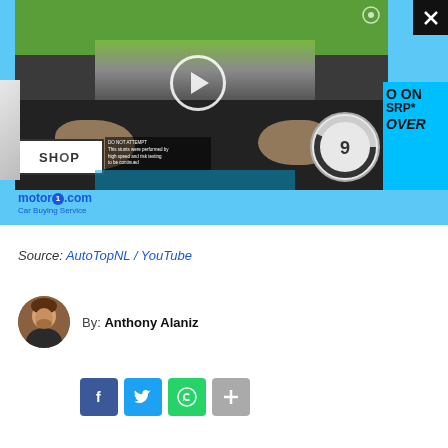[Figure (screenshot): Embedded video player showing a person driving a car from POV perspective, with a road ahead. Overlaid advertisement with motor1.com Car Buying Service branding and a cyan/blue banner showing discount text: '0 ON SRP* ROVER'. Close X button in top right corner. A white car is partially visible on the left side.]
Source: AutoTopNL / YouTube
By: Anthony Alaniz
[Figure (photo): Circular author avatar photo of Anthony Alaniz]
[Figure (infographic): Social share buttons: Facebook (blue), Twitter (light blue), WhatsApp (green), More/Plus (gray)]